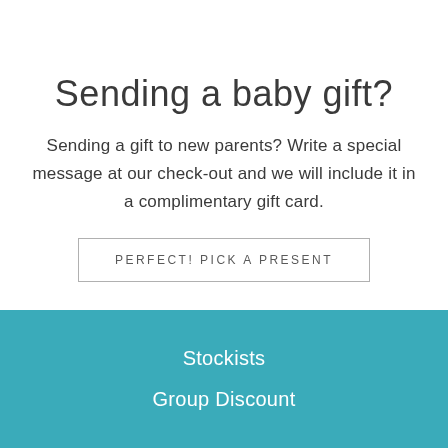Sending a baby gift?
Sending a gift to new parents? Write a special message at our check-out and we will include it in a complimentary gift card.
PERFECT! PICK A PRESENT
Stockists
Group Discount